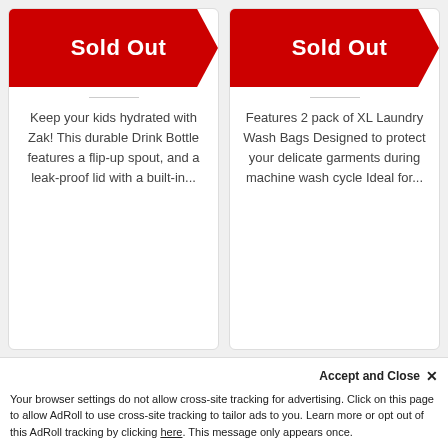[Figure (other): Sold Out banner (red chevron) for left product card]
Keep your kids hydrated with Zak! This durable Drink Bottle features a flip-up spout, and a leak-proof lid with a built-in...
[Figure (other): Sold Out banner (red chevron) for right product card]
Features 2 pack of XL Laundry Wash Bags Designed to protect your delicate garments during machine wash cycle Ideal for...
[Figure (photo): Gold keychain/clip accessory photo]
[Figure (photo): Frozen characters (Elsa/Anna) themed purple product photo]
Accept and Close ✕
Your browser settings do not allow cross-site tracking for advertising. Click on this page to allow AdRoll to use cross-site tracking to tailor ads to you. Learn more or opt out of this AdRoll tracking by clicking here. This message only appears once.